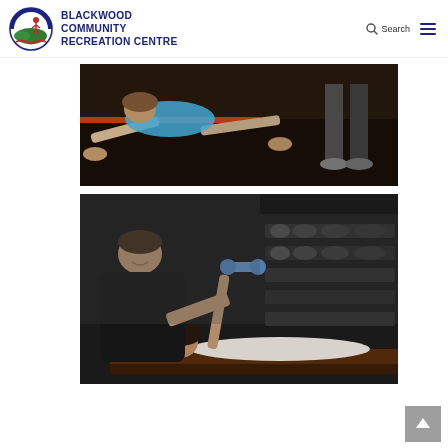[Figure (logo): Blackwood Community Recreation Centre circular logo with stylized figures and landscape]
BLACKWOOD COMMUNITY RECREATION CENTRE
[Figure (photo): Woman doing push-ups on gym floor with trainer observing in the background]
[Figure (photo): Personal trainer assisting a woman lifting a dumbbell while lying on a bench in a gym with weight racks in background]